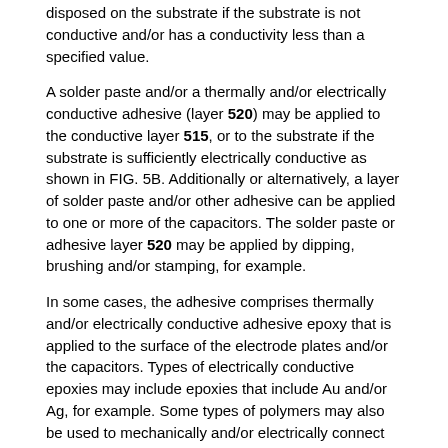disposed on the substrate if the substrate is not conductive and/or has a conductivity less than a specified value.
A solder paste and/or a thermally and/or electrically conductive adhesive (layer 520) may be applied to the conductive layer 515, or to the substrate if the substrate is sufficiently electrically conductive as shown in FIG. 5B. Additionally or alternatively, a layer of solder paste and/or other adhesive can be applied to one or more of the capacitors. The solder paste or adhesive layer 520 may be applied by dipping, brushing and/or stamping, for example.
In some cases, the adhesive comprises thermally and/or electrically conductive adhesive epoxy that is applied to the surface of the electrode plates and/or the capacitors. Types of electrically conductive epoxies may include epoxies that include Au and/or Ag, for example. Some types of polymers may also be used to mechanically and/or electrically connect the capacitors to the first and/or second plate. In some embodiments, an anisotropic conductive film may be used.
Capacitors are mechanically and/or electrically coupled to